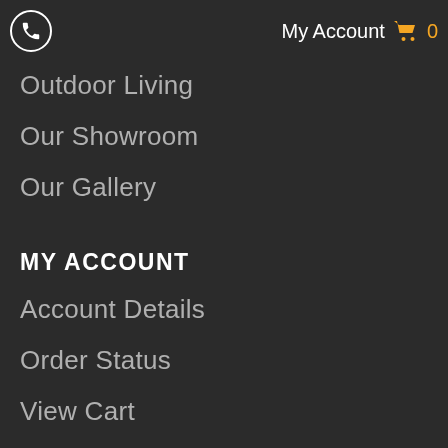My Account 🛒 0
Outdoor Living
Our Showroom
Our Gallery
MY ACCOUNT
Account Details
Order Status
View Cart
Check Out
CONTACT